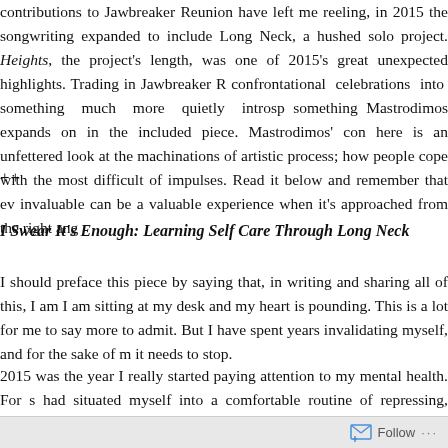contributions to Jawbreaker Reunion have left me reeling, in 2015 the songwriting expanded to include Long Neck, a hushed solo project. Heights, the project's length, was one of 2015's great unexpected highlights. Trading in Jawbreaker confrontational celebrations into something much more quietly introspective, something Mastrodimos expands on in the included piece. Mastrodimos' contribution here is an unfettered look at the machinations of artistic process; how people cope with the most difficult of impulses. Read it below and remember that even the invaluable can be a valuable experience when it's approached from the right angle.
++
I Swear It's Enough: Learning Self Care Through Long Neck
I should preface this piece by saying that, in writing and sharing all of this, I am trembling. I am sitting at my desk and my heart is pounding. This is a lot for me to say and even more to admit. But I have spent years invalidating myself, and for the sake of myself, it needs to stop.
2015 was the year I really started paying attention to my mental health. For so long I had situated myself into a comfortable routine of repressing, repressing, repressing.
Follow